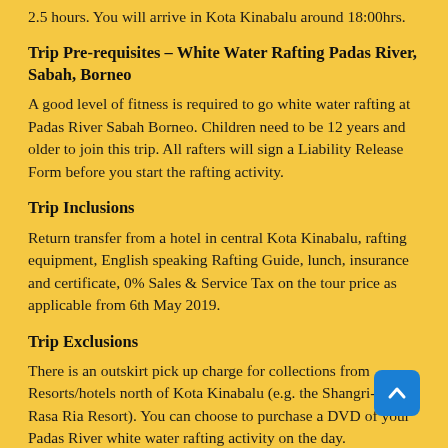2.5 hours. You will arrive in Kota Kinabalu around 18:00hrs.
Trip Pre-requisites – White Water Rafting Padas River, Sabah, Borneo
A good level of fitness is required to go white water rafting at Padas River Sabah Borneo. Children need to be 12 years and older to join this trip. All rafters will sign a Liability Release Form before you start the rafting activity.
Trip Inclusions
Return transfer from a hotel in central Kota Kinabalu, rafting equipment, English speaking Rafting Guide, lunch, insurance and certificate, 0% Sales & Service Tax on the tour price as applicable from 6th May 2019.
Trip Exclusions
There is an outskirt pick up charge for collections from Resorts/hotels north of Kota Kinabalu (e.g. the Shangri-La's Rasa Ria Resort). You can choose to purchase a DVD of your Padas River white water rafting activity on the day.
Recommended Packing List For The Trip
Sandals with strap, shorts and T-shirt (NOT white colour)